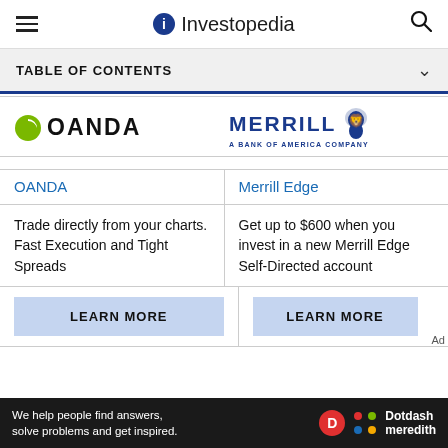Investopedia
TABLE OF CONTENTS
[Figure (logo): OANDA logo with green N icon]
[Figure (logo): Merrill A Bank of America Company logo with lion]
OANDA
Merrill Edge
Trade directly from your charts. Fast Execution and Tight Spreads
Get up to $600 when you invest in a new Merrill Edge Self-Directed account
LEARN MORE
LEARN MORE
We help people find answers, solve problems and get inspired. Dotdash meredith